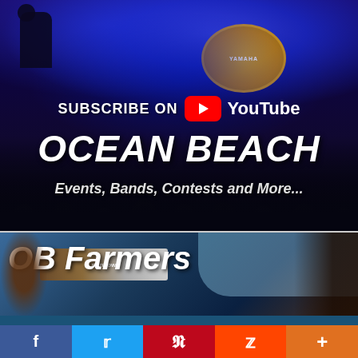[Figure (photo): Concert photo with crowd and band on stage with blue lighting, showing a YouTube subscribe call-to-action overlay. Text reads: SUBSCRIBE ON YouTube, OCEAN BEACH, Events, Bands, Contests and More...]
[Figure (photo): Outdoor photo showing OB Farmers market with a rainbow banner visible in background, text reads OB Farmers]
We Use Cookies On This Site To Enhance Your User Experience